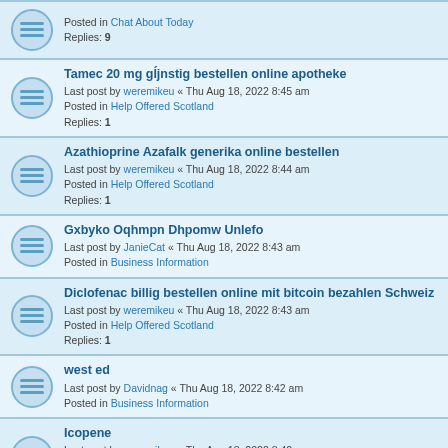Posted in Chat About Today
Replies: 9
Tamec 20 mg günstig bestellen online apotheke
Last post by weremikeu « Thu Aug 18, 2022 8:45 am
Posted in Help Offered Scotland
Replies: 1
Azathioprine Azafalk generika online bestellen
Last post by weremikeu « Thu Aug 18, 2022 8:44 am
Posted in Help Offered Scotland
Replies: 1
Gxbyko Oqhmpn Dhpomw Unlefo
Last post by JanieCat « Thu Aug 18, 2022 8:43 am
Posted in Business Information
Diclofenac billig bestellen online mit bitcoin bezahlen Schweiz
Last post by weremikeu « Thu Aug 18, 2022 8:43 am
Posted in Help Offered Scotland
Replies: 1
west ed
Last post by Davidnag « Thu Aug 18, 2022 8:42 am
Posted in Business Information
Icopene
Last post by weremikeu « Thu Aug 18, 2022 8:42 am
Posted in Help Offered Scotland
Replies: 1
Online Casino Ceske popř Mobilních Kasino Českém
Last post by weremikeu « Thu Aug 18, 2022 8:40 am
Posted in Help Offered Scotland
Replies: 1